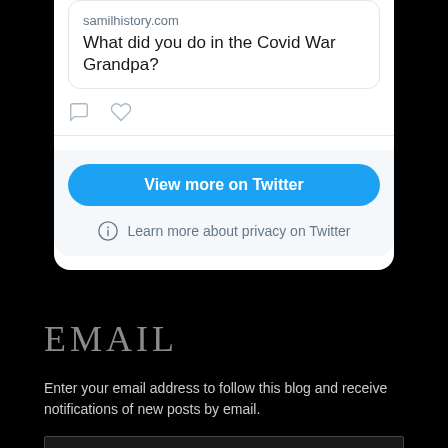samilhistory.com
What did you do in the Covid War Grandpa?
[Figure (screenshot): Comment and heart action icons]
View more on Twitter
Learn more about privacy on Twitter
EMAIL
Enter your email address to follow this blog and receive notifications of new posts by email.
Email Address